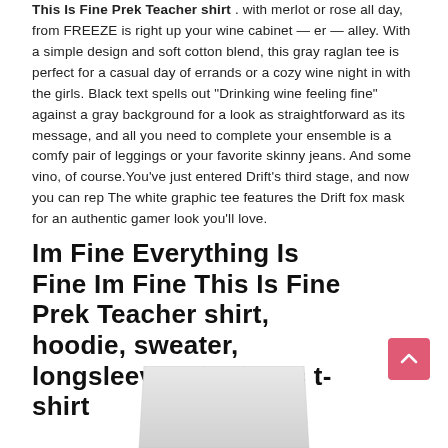This Is Fine Prek Teacher shirt . with merlot or rose all day, from FREEZE is right up your wine cabinet — er — alley. With a simple design and soft cotton blend, this gray raglan tee is perfect for a casual day of errands or a cozy wine night in with the girls. Black text spells out "Drinking wine feeling fine" against a gray background for a look as straightforward as its message, and all you need to complete your ensemble is a comfy pair of leggings or your favorite skinny jeans. And some vino, of course.You've just entered Drift's third stage, and now you can rep The white graphic tee features the Drift fox mask for an authentic gamer look you'll love.
Im Fine Everything Is Fine Im Fine This Is Fine Prek Teacher shirt, hoodie, sweater, longsleeve and ladies t-shirt
[Figure (photo): Bottom portion of a white t-shirt shown on a plain white background]